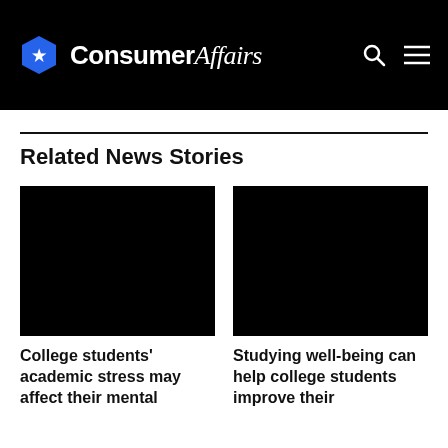ConsumerAffairs
Related News Stories
[Figure (photo): Black image placeholder for news article about college students academic stress]
College students' academic stress may affect their mental
[Figure (photo): Black image placeholder for news article about studying well-being]
Studying well-being can help college students improve their